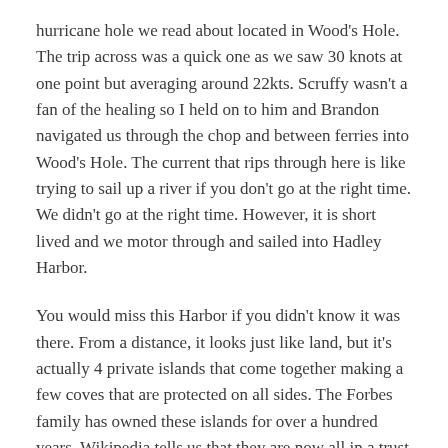hurricane hole we read about located in Wood's Hole. The trip across was a quick one as we saw 30 knots at one point but averaging around 22kts. Scruffy wasn't a fan of the healing so I held on to him and Brandon navigated us through the chop and between ferries into Wood's Hole. The current that rips through here is like trying to sail up a river if you don't go at the right time. We didn't go at the right time. However, it is short lived and we motor through and sailed into Hadley Harbor.
You would miss this Harbor if you didn't know it was there. From a distance, it looks just like land, but it's actually 4 private islands that come together making a few coves that are protected on all sides. The Forbes family has owned these islands for over a hundred years. Wikipedia tells us that they are now all in a trust held by the family and there are 3 dozen homes spread throughout.